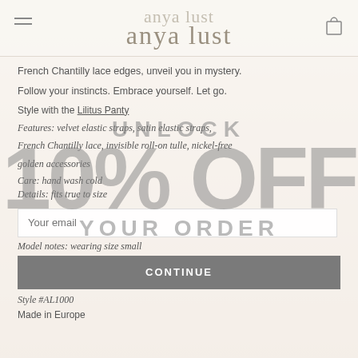anya lust
French Chantilly lace edges, unveil you in mystery. Follow your instincts. Embrace yourself. Let go.
Style with the Lilitus Panty
Features: velvet elastic straps, satin elastic straps, French Chantilly lace, invisible roll-on tulle, nickel-free golden accessories
Care: hand wash cold
Details: fits true to size
Model notes: wearing size small
Style #AL1000
Made in Europe
[Figure (infographic): Promotional popup overlay showing UNLOCK 10% OFF YOUR ORDER in large semi-transparent gray text over the page content, with an email input field and CONTINUE button]